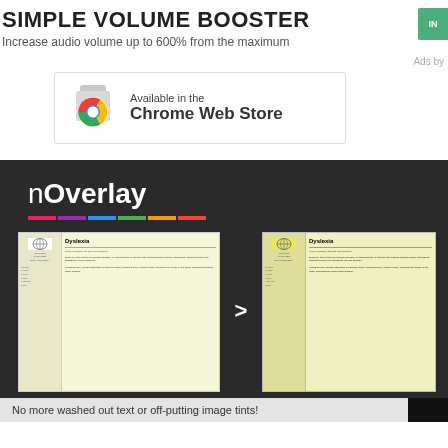SIMPLE VOLUME BOOSTER
Increase audio volume up to 600% from the maximum
Ads by
[Figure (screenshot): Chrome Web Store badge: Available in the Chrome Web Store]
[Figure (screenshot): nOverlay browser extension promotional image showing before/after Wikipedia page with yellow overlay tint applied]
No more washed out text or off-putting image tints!